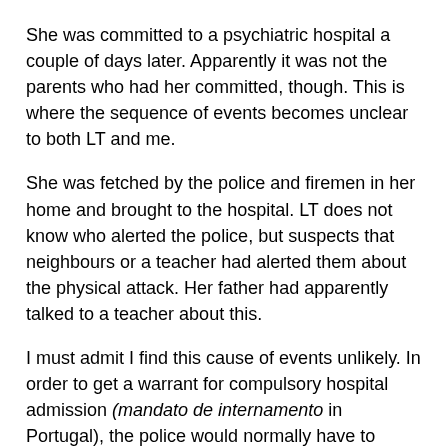She was committed to a psychiatric hospital a couple of days later. Apparently it was not the parents who had her committed, though. This is where the sequence of events becomes unclear to both LT and me.
She was fetched by the police and firemen in her home and brought to the hospital. LT does not know who alerted the police, but suspects that neighbours or a teacher had alerted them about the physical attack. Her father had apparently talked to a teacher about this.
I must admit I find this cause of events unlikely. In order to get a warrant for compulsory hospital admission (mandato de internamento in Portugal), the police would normally have to contact a psychiatrist, which indicates that the psychiatrist who had interviewed LT was involved somehow.
My suspicion is strengthened by the fact that as soon as LT was committed, the female psychiatrist in charge of LT argued for the very same treatment as the first psychiatrist: Xenlion injections.